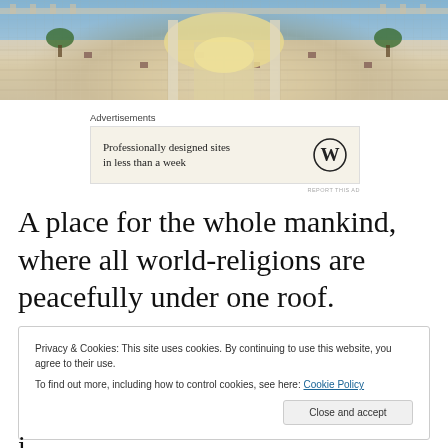[Figure (photo): Aerial or ground-level view of a grand architectural space with marble tiled floor, columns, and ornate entrance, in a Middle Eastern or South Asian religious/cultural site]
[Figure (infographic): Advertisement box: 'Professionally designed sites in less than a week' with WordPress logo]
A place for the whole mankind, where all world-religions are peacefully under one roof.
Privacy & Cookies: This site uses cookies. By continuing to use this website, you agree to their use.
To find out more, including how to control cookies, see here: Cookie Policy
Close and accept